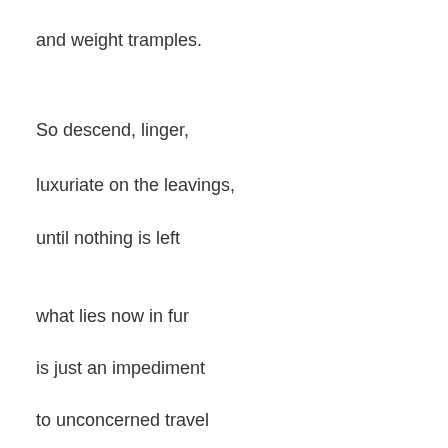and weight tramples.
So descend, linger,
luxuriate on the leavings,
until nothing is left
what lies now in fur
is just an impediment
to unconcerned travel